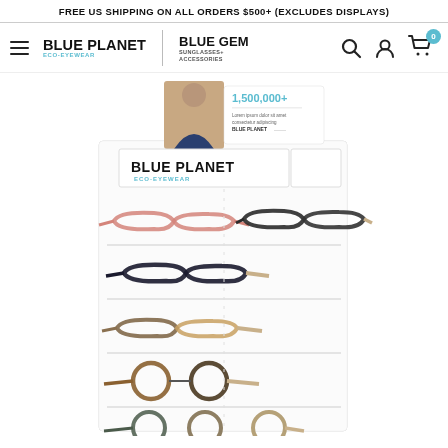FREE US SHIPPING ON ALL ORDERS $500+ (EXCLUDES DISPLAYS)
[Figure (logo): Blue Planet Eco-Eyewear | Blue Gem Sunglasses + Accessories logo with hamburger menu, search, account, and cart icons]
[Figure (photo): Retail eyewear display rack showing Blue Planet Eco-Eyewear brand with multiple rows of glasses frames in various colors and styles, with marketing card showing 1,500,000+ at top]